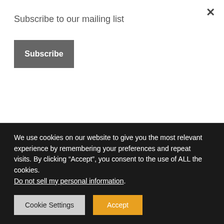[Figure (screenshot): Dark background with image strip showing blurred grey/dark photo at top, and article metadata overlay including category tags, date, comments, author, and partial article title]
Subscribe to our mailing list
Subscribe
We use cookies on our website to give you the most relevant experience by remembering your preferences and repeat visits. By clicking “Accept”, you consent to the use of ALL the cookies.
Do not sell my personal information.
Cookie Settings
Accept